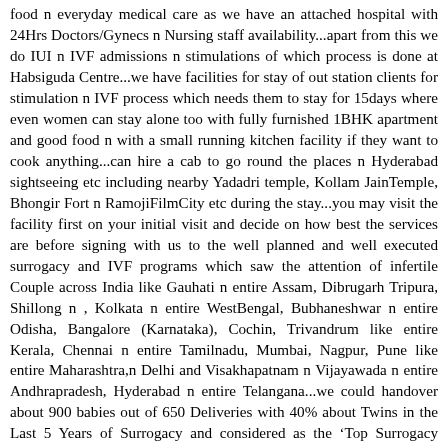food n everyday medical care as we have an attached hospital with 24Hrs Doctors/Gynecs n Nursing staff availability...apart from this we do IUI n IVF admissions n stimulations of which process is done at Habsiguda Centre...we have facilities for stay of out station clients for stimulation n IVF process which needs them to stay for 15days where even women can stay alone too with fully furnished 1BHK apartment and good food n with a small running kitchen facility if they want to cook anything...can hire a cab to go round the places n Hyderabad sightseeing etc including nearby Yadadri temple, Kollam JainTemple, Bhongir Fort n RamojiFilmCity etc during the stay...you may visit the facility first on your initial visit and decide on how best the services are before signing with us to the well planned and well executed surrogacy and IVF programs which saw the attention of infertile Couple across India like Gauhati n entire Assam, Dibrugarh Tripura, Shillong n , Kolkata n entire WestBengal, Bubhaneshwar n entire Odisha, Bangalore (Karnataka), Cochin, Trivandrum like entire Kerala, Chennai n entire Tamilnadu, Mumbai, Nagpur, Pune like entire Maharashtra,n Delhi and Visakhapatnam n Vijayawada n entire Andhrapradesh, Hyderabad n entire Telangana...we could handover about 900 babies out of 650 Deliveries with 40% about Twins in the Last 5 Years of Surrogacy and considered as the ‘Top Surrogacy Centre in India’ with ‘highest number of healthy surrogate baby births in India as of now’ and about 10,000 ART Babies through all IUI n IVF making us known as “Top IVF centre in India with ‘Best Results in IVF / ICSI in india’ n